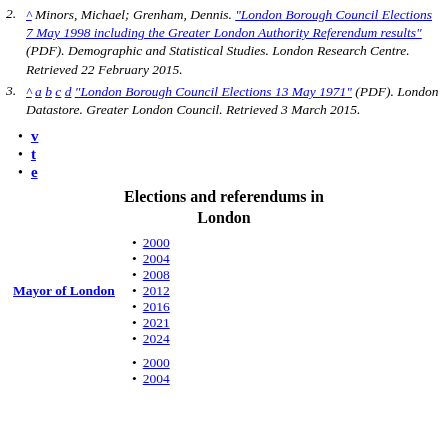2. ^ Minors, Michael; Grenham, Dennis. "London Borough Council Elections 7 May 1998 including the Greater London Authority Referendum results" (PDF). Demographic and Statistical Studies. London Research Centre. Retrieved 22 February 2015.
3. ^ a b c d "London Borough Council Elections 13 May 1971" (PDF). London Datastore. Greater London Council. Retrieved 3 March 2015.
v
t
e
Elections and referendums in London
2000
2004
2008
2012
2016
2021
2024
2000
2004